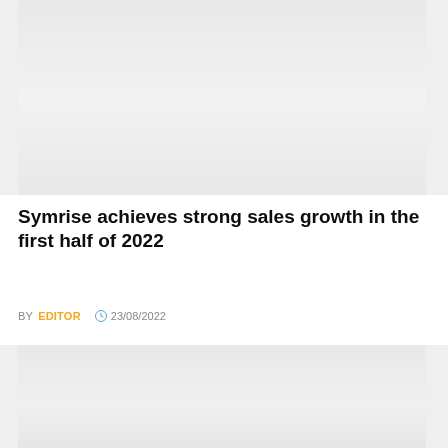[Figure (photo): Gray placeholder image area at the top of the page with a company news badge overlay]
COMPANY NEWS
Symrise achieves strong sales growth in the first half of 2022
BY EDITOR  23/08/2022
[Figure (photo): Gray placeholder image area at the bottom of the page]